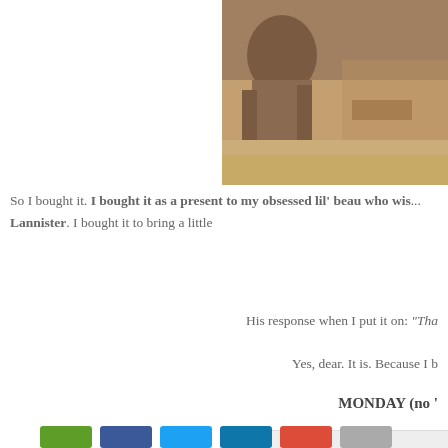[Figure (photo): A partial view of a scene from what appears to be a medieval/fantasy TV show, showing a shirtless man in chains or combat, in an outdoor dusty setting]
So I bought it. I bought it as a present to my obsessed lil' beau who wished he were a Lannister. I bought it to bring a little
His response when I put it on: "Tha
Yes, dear. It is. Because I b
MONDAY (no '
[Figure (logo): A logo featuring a stylized M/heart black icon and pink cursive text reading 'Cai...' on a light gray background, with 'photo' watermark text]
[Figure (infographic): Social sharing buttons row: green, blue, light blue, dark blue, red, gray buttons]